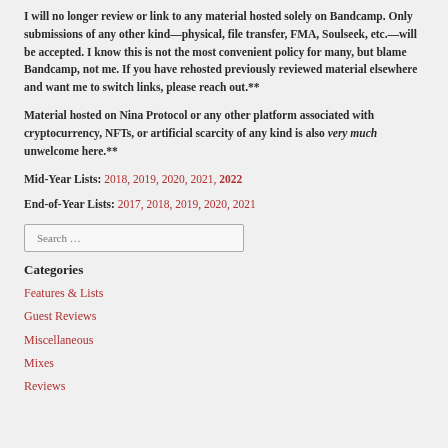**I will no longer review or link to any material hosted solely on Bandcamp. Only submissions of any other kind—physical, file transfer, FMA, Soulseek, etc.—will be accepted. I know this is not the most convenient policy for many, but blame Bandcamp, not me. If you have rehosted previously reviewed material elsewhere and want me to switch links, please reach out.**
**Material hosted on Nina Protocol or any other platform associated with cryptocurrency, NFTs, or artificial scarcity of any kind is also very much unwelcome here.**
Mid-Year Lists: 2018, 2019, 2020, 2021, 2022
End-of-Year Lists: 2017, 2018, 2019, 2020, 2021
Search ...
Categories
Features & Lists
Guest Reviews
Miscellaneous
Mixes
Reviews